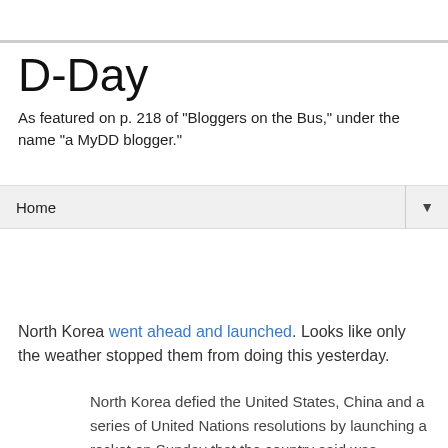D-Day
As featured on p. 218 of "Bloggers on the Bus," under the name "a MyDD blogger."
Home ▼
Saturday, April 04, 2009
Rocket
North Korea went ahead and launched. Looks like only the weather stopped them from doing this yesterday.
North Korea defied the United States, China and a series of United Nations resolutions by launching a rocket on Sunday that the country said was designed to propel a satellite into space, but that much of the world viewed as an